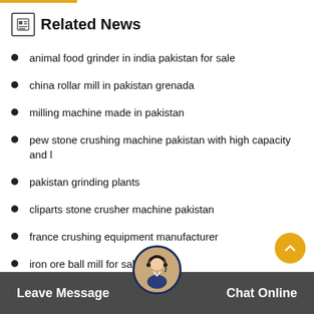Related News
animal food grinder in india pakistan for sale
china rollar mill in pakistan grenada
milling machine made in pakistan
pew stone crushing machine pakistan with high capacity and l
pakistan grinding plants
cliparts stone crusher machine pakistan
france crushing equipment manufacturer
iron ore ball mill for sale in
Leave Message   Chat Online